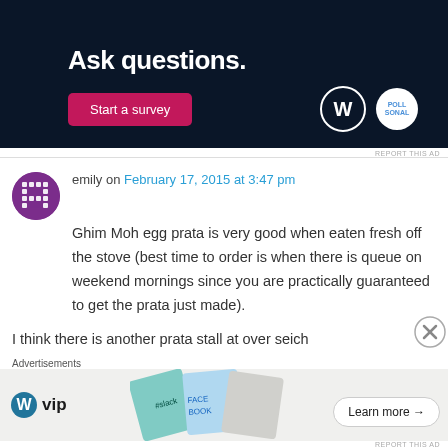[Figure (screenshot): Dark navy ad banner with text 'Ask questions.' a pink 'Start a survey' button and WordPress/poll logos on the right]
emily on February 17, 2015 at 3:47 pm
Ghim Moh egg prata is very good when eaten fresh off the stove (best time to order is when there is queue on weekend mornings since you are practically guaranteed to get the prata just made).
I think there is another prata stall at over seich
[Figure (screenshot): Bottom advertisement banner for WordPress VIP showing logo and 'Learn more' button with colorful card graphics]